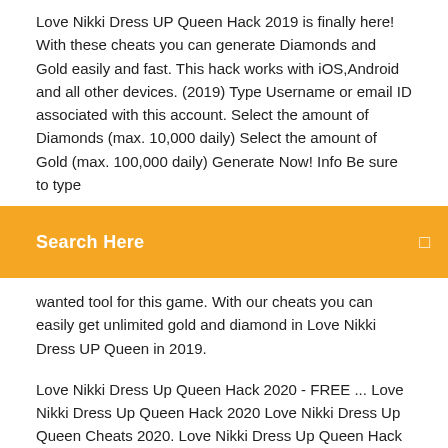Love Nikki Dress UP Queen Hack 2019 is finally here! With these cheats you can generate Diamonds and Gold easily and fast. This hack works with iOS,Android and all other devices. (2019) Type Username or email ID associated with this account. Select the amount of Diamonds (max. 10,000 daily) Select the amount of Gold (max. 100,000 daily) Generate Now! Info Be sure to type
[Figure (screenshot): Orange search bar with white text 'Search Here' and a search icon on the right]
wanted tool for this game. With our cheats you can easily get unlimited gold and diamond in Love Nikki Dress UP Queen in 2019.
Love Nikki Dress Up Queen Hack 2020 - FREE ... Love Nikki Dress Up Queen Hack 2020 Love Nikki Dress Up Queen Cheats 2020. Love Nikki Dress Up Queen Hack 2020 | How to Hack Love Nikki Diamonds & Coins [Android/iOS] Cheats Wolfteam Mini check this out. JUST RELEASED: New Love Nikki Dress Up Queen Hack Working in 2020 Always Up To Date 100% Safe and